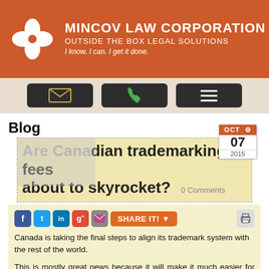[Figure (logo): Mincov Law Corporation header banner with logo (white flower/pinwheel icon), firm name, taglines, and navigation buttons]
Blog
Are Canadian trademarking fees about to skyrocket?
0 Comments
Canada is taking the final steps to align its trademark system with the rest of the world.
This is mostly great news because it will make it much easier for Canadian businesses to protect their brands internationally. It will also allow brand owners outside of Canada to specify Canada in their international trademark applications. To learn more about deficiencies of Canada's